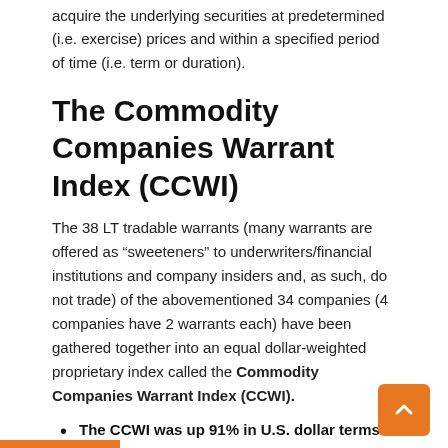acquire the underlying securities at predetermined (i.e. exercise) prices and within a specified period of time (i.e. term or duration).
The Commodity Companies Warrant Index (CCWI)
The 38 LT tradable warrants (many warrants are offered as “sweeteners” to underwriters/financial institutions and company insiders and, as such, do not trade) of the abovementioned 34 companies (4 companies have 2 warrants each) have been gathered together into an equal dollar-weighted proprietary index called the Commodity Companies Warrant Index (CCWI).
The CCWI was up 91% in U.S. dollar terms in 2010.
Most financial writers and advisors are of the mistaken impression that warrants are just associated with penny stocks – the ‘juniors’ – but as the breakout of commodity-related companies with LT warrants by market cap below shows that is not entirely the case